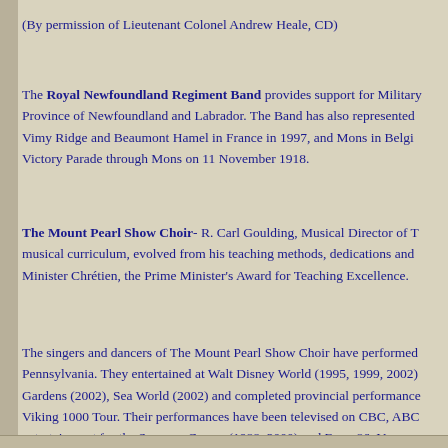(By permission of Lieutenant Colonel Andrew Heale, CD)
The Royal Newfoundland Regiment Band provides support for Military Province of Newfoundland and Labrador. The Band has also represented Vimy Ridge and Beaumont Hamel in France in 1997, and Mons in Belgium Victory Parade through Mons on 11 November 1918.
The Mount Pearl Show Choir- R. Carl Goulding, Musical Director of T musical curriculum, evolved from his teaching methods, dedications and Minister Chrétien, the Prime Minister's Award for Teaching Excellence.
The singers and dancers of The Mount Pearl Show Choir have performed Pennsylvania. They entertained at Walt Disney World (1995, 1999, 2002) Gardens (2002), Sea World (2002) and completed provincial performance Viking 1000 Tour. Their performances have been televised on CBC, ABC entertainment for the Summer Games (1988, 2000) and Expo 86, Vancouver in July 2005.